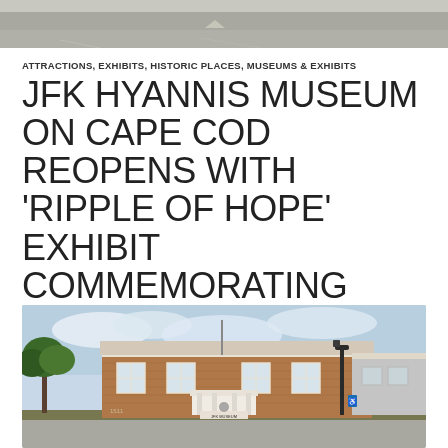[Figure (photo): Top portion of a road/parking area photo, cropped at top of page]
ATTRACTIONS, EXHIBITS, HISTORIC PLACES, MUSEUMS & EXHIBITS
JFK HYANNIS MUSEUM ON CAPE COD REOPENS WITH 'RIPPLE OF HOPE' EXHIBIT COMMEMORATING RFK
APRIL 7, 2021
Facebook   Twitter   LinkedIn
[Figure (photo): Exterior photograph of the JFK Hyannis Museum, a red brick building with white trim, white entrance portico with JFK MUSEUM sign, street lamp in foreground, trees on left, cloudy sky]